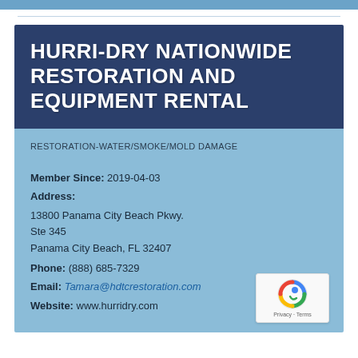HURRI-DRY NATIONWIDE RESTORATION AND EQUIPMENT RENTAL
RESTORATION-WATER/SMOKE/MOLD DAMAGE
Member Since: 2019-04-03
Address:
13800 Panama City Beach Pkwy.
Ste 345
Panama City Beach, FL 32407
Phone: (888) 685-7329
Email: Tamara@hdtcrestoration.com
Website: www.hurridry.com